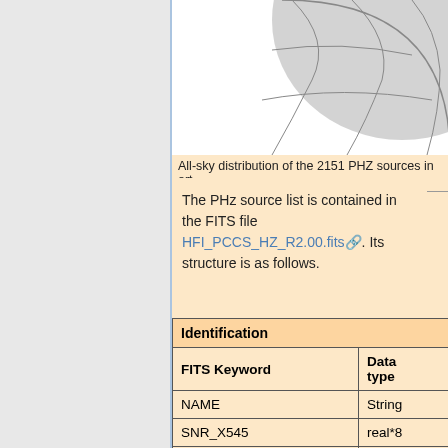[Figure (illustration): Partial view of all-sky distribution of the 2151 PHZ sources in orthographic projection — showing curved grid lines and a gray shaded region]
All-sky distribution of the 2151 PHZ sources in ort…
The PHz source list is contained in the FITS file HFI_PCCS_HZ_R2.00.fits. Its structure is as follows.
| FITS Keyword | Data type |
| --- | --- |
| Identification |  |
| NAME | String |
| SNR_X545 | real*8 |
| SNR_D857 | real*8 |
| SNR_D545 | real*8 |
| SNR_D353 | real*8 |